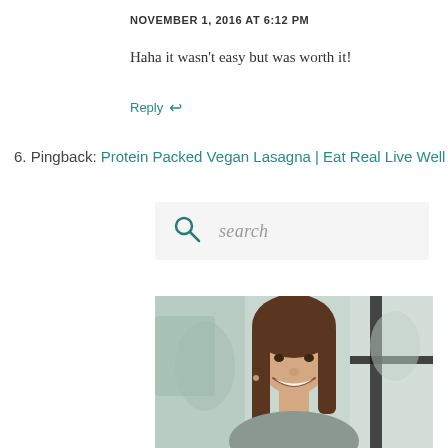NOVEMBER 1, 2016 AT 6:12 PM
Haha it wasn't easy but was worth it!
Reply ↩
6. Pingback: Protein Packed Vegan Lasagna | Eat Real Live Well
[Figure (other): Search box with magnifying glass icon and italic placeholder text 'search']
[Figure (photo): Portrait photo of a smiling woman with long brown hair, outdoors with blurred background including a black railing]